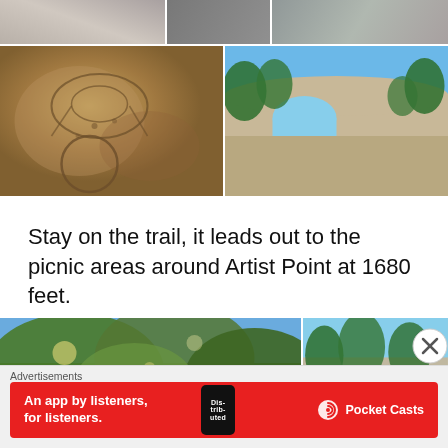[Figure (photo): Top strip of three partial photos of rocks/landscape]
[Figure (photo): Left: overhead view of circular rock engravings/carvings on stone surface. Right: rock formation with natural arch opening, trees in background.]
Stay on the trail, it leads out to the picnic areas around Artist Point at 1680 feet.
[Figure (photo): Left: looking up through dense oak tree canopy at sky. Right: picnic area with paved surface and trees.]
Advertisements
[Figure (infographic): Red advertisement banner: 'An app by listeners, for listeners.' with Pocket Casts branding and phone graphic showing 'Distributed' text.]